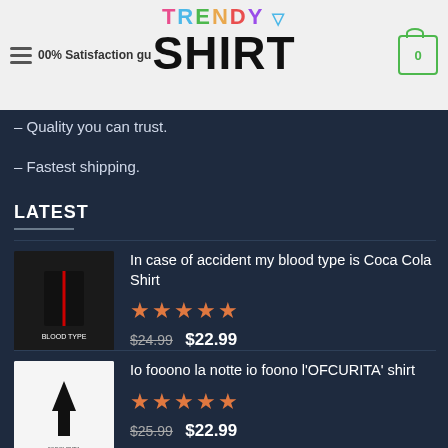Trendy Shirt – 100% Satisfaction guarantee
– Quality you can trust.
– Fastest shipping.
LATEST
In case of accident my blood type is Coca Cola Shirt – Rated 5 stars – $24.99  $22.99
Io fooono la notte io foono l'OFCURITA' shirt – Rated 5 stars – $25.99  $22.99